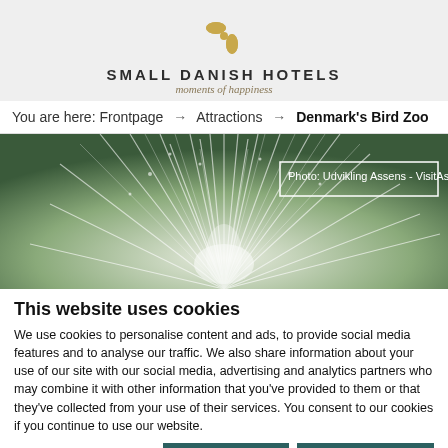[Figure (logo): Small Danish Hotels logo — golden pinwheel/flower icon above brand name]
SMALL DANISH HOTELS
moments of happiness
You are here: Frontpage → Attractions → Denmark's Bird Zoo
[Figure (photo): Close-up photo of white feathery plant/grass with blurred green background. Caption box reads: Photo: Udvikling Assens - VisitAssens]
This website uses cookies
We use cookies to personalise content and ads, to provide social media features and to analyse our traffic. We also share information about your use of our site with our social media, advertising and analytics partners who may combine it with other information that you've provided to them or that they've collected from your use of their services. You consent to our cookies if you continue to use our website.
Allow selection | Allow all cookies
Necessary  Preferences  Statistics  Marketing  Show details